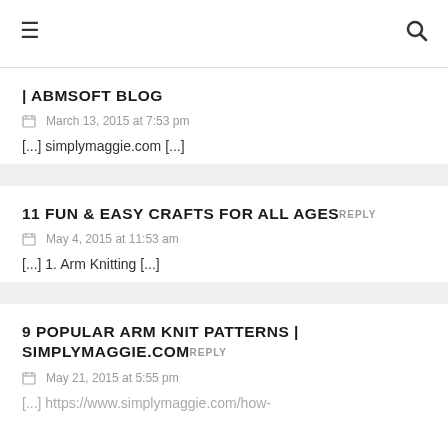≡   🔍
| ABMSOFT BLOG
March 13, 2015 at 7:53 pm
[...] simplymaggie.com [...]
11 FUN & EASY CRAFTS FOR ALL AGES
May 4, 2015 at 11:53 am
[...] 1. Arm Knitting [...]
9 POPULAR ARM KNIT PATTERNS | SIMPLYMAGGIE.COM
May 21, 2015 at 5:55 pm
[...] https://www.simplymaggie.com/how-